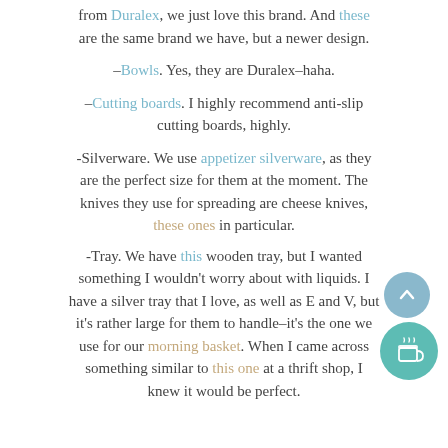from Duralex, we just love this brand. And these are the same brand we have, but a newer design.
–Bowls. Yes, they are Duralex–haha.
–Cutting boards. I highly recommend anti-slip cutting boards, highly.
-Silverware. We use appetizer silverware, as they are the perfect size for them at the moment. The knives they use for spreading are cheese knives, these ones in particular.
-Tray. We have this wooden tray, but I wanted something I wouldn't worry about with liquids. I have a silver tray that I love, as well as E and V, but it's rather large for them to handle–it's the one we use for our morning basket. When I came across something similar to this one at a thrift shop, I knew it would be perfect.